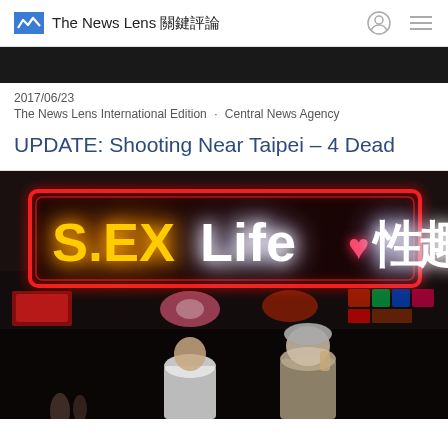The News Lens 關鍵評論
[Figure (photo): Dark top image strip, partial photo at top of page]
2017/06/23
The News Lens International Edition · Central News Agency
UPDATE: Shooting Near Taipei – 4 Dead
[Figure (photo): Neon sign reading 'S.EX Life♥性趣' in red and white neon lights on a shopfront at night, with two people standing in front]